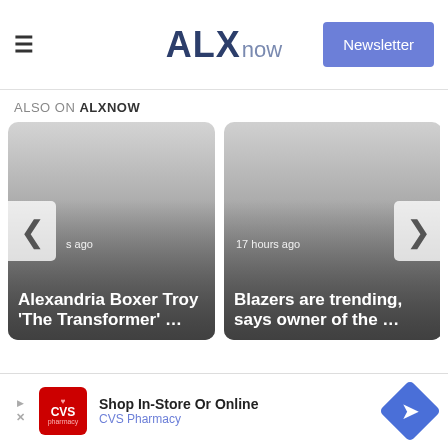ALXnow — Newsletter
ALSO ON ALXNOW
[Figure (screenshot): Article card: Alexandria Boxer Troy 'The Transformer' ... — [time] ago]
[Figure (screenshot): Article card: Blazers are trending, says owner of the ... — 17 hours ago]
[Figure (screenshot): Advertisement: CVS Pharmacy — Shop In-Store Or Online]